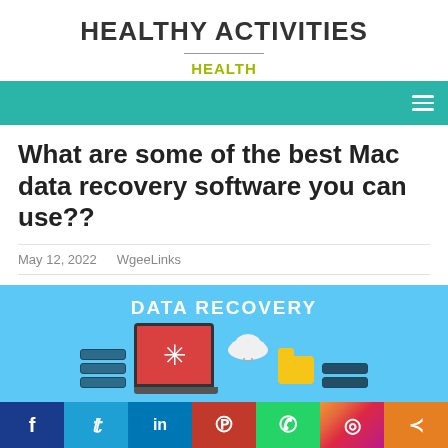HEALTHY ACTIVITIES
HEALTH
What are some of the best Mac data recovery software you can use??
May 12, 2022   WgeeLinks
[Figure (illustration): Data Recovery illustration with server stacks, a monitor/laptop showing a burst graphic on red screen, cloud icon, and yellow folder, on a blue background with 'DATA RECOVERY' text at top]
[Figure (infographic): Social media sharing bar with icons for Facebook, Twitter, LinkedIn, Pinterest, WhatsApp, Instagram, and Share]